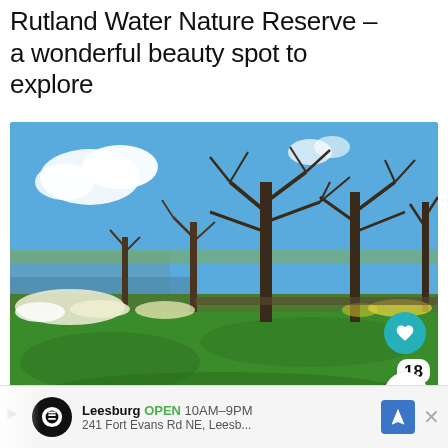Rutland Water Nature Reserve – a wonderful beauty spot to explore
[Figure (photo): Outdoor landscape photo of Rutland Water Nature Reserve on a sunny spring day. Green grass lawn in foreground, white and yellow daffodil flowers, bare deciduous trees in background, calm water reservoir visible on the left, blue sky with white clouds above. Social sharing buttons (heart/like, count 18, share) overlay the bottom right corner.]
Leesburg OPEN 10AM–9PM 241 Fort Evans Rd NE, Leesb...